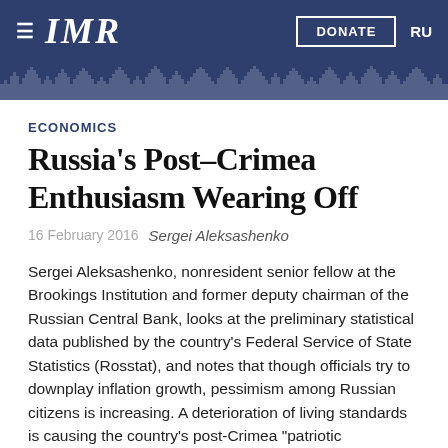≡ IMR   DONATE   RU
ECONOMICS
Russia's Post-Crimea Enthusiasm Wearing Off
16 February 2016  Sergei Aleksashenko
Sergei Aleksashenko, nonresident senior fellow at the Brookings Institution and former deputy chairman of the Russian Central Bank, looks at the preliminary statistical data published by the country's Federal Service of State Statistics (Rosstat), and notes that though officials try to downplay inflation growth, pessimism among Russian citizens is increasing. A deterioration of living standards is causing the country's post-Crimea "patriotic enthusiasm" to wear off.